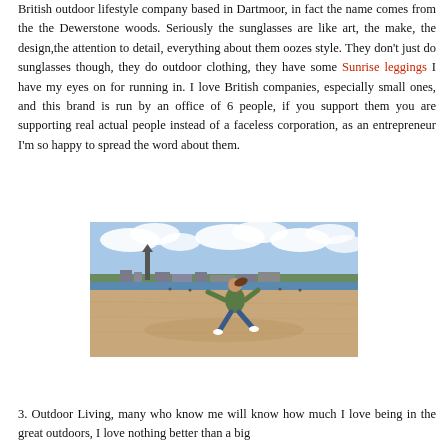British outdoor lifestyle company based in Dartmoor, in fact the name comes from the the Dewerstone woods. Seriously the sunglasses are like art, the make, the design,the attention to detail, everything about them oozes style. They don't just do sunglasses though, they do outdoor clothing, they have some Sunrise leggings I have my eyes on for running in. I love British companies, especially small ones, and this brand is run by an office of 6 people, if you support them you are supporting real actual people instead of a faceless corporation, as an entrepreneur I'm so happy to spread the word about them.
[Figure (photo): A person jumping joyfully on a sandy beach with a church/cathedral and coastline town visible in the background under a cloudy sky. The person is wearing a green jacket and blue jeans.]
3. Outdoor Living, many who know me will know how much I love being in the great outdoors, I love nothing better than a big